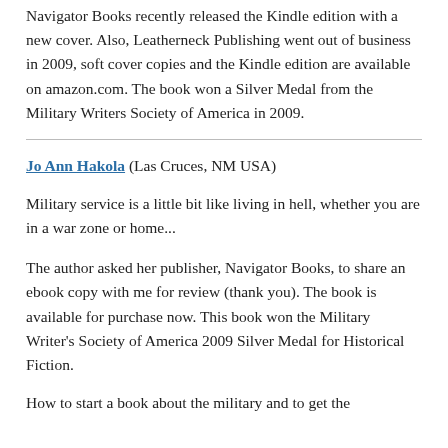Navigator Books recently released the Kindle edition with a new cover. Also, Leatherneck Publishing went out of business in 2009, soft cover copies and the Kindle edition are available on amazon.com. The book won a Silver Medal from the Military Writers Society of America in 2009.
Jo Ann Hakola (Las Cruces, NM USA)
Military service is a little bit like living in hell, whether you are in a war zone or home...
The author asked her publisher, Navigator Books, to share an ebook copy with me for review (thank you). The book is available for purchase now. This book won the Military Writer's Society of America 2009 Silver Medal for Historical Fiction.
How to start a book about the military and to get the...